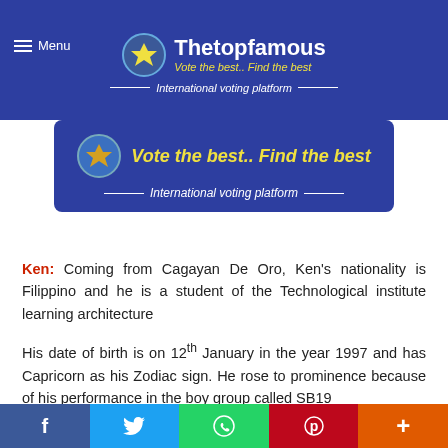[Figure (logo): Thetopfamous logo with trophy icon, tagline 'Vote the best.. Find the best' and subtitle 'International voting platform' on blue navbar]
[Figure (logo): Thetopfamous banner with trophy icon, 'Vote the best.. Find the best' in yellow italic and 'International voting platform' subtitle on blue rounded rectangle]
Ken: Coming from Cagayan De Oro, Ken's nationality is Filippino and he is a student of the Technological institute learning architecture
His date of birth is on 12th January in the year 1997 and has Capricorn as his Zodiac sign. He rose to prominence because of his performance in the boy group called SB19
People love him for the amazing dance that he performs and his singing capacity is loved by many fans from around the
f  Twitter  WhatsApp  Pinterest  +